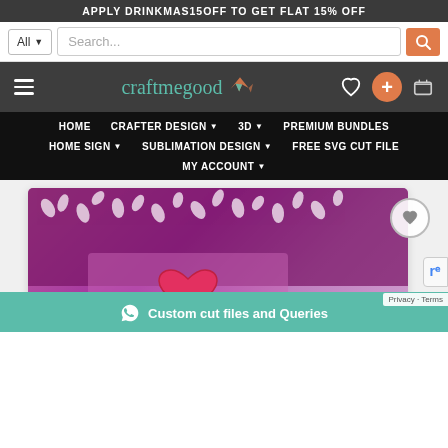APPLY DRINKMAS15OFF TO GET FLAT 15% OFF
[Figure (screenshot): Search bar with All dropdown and search input field with orange search button]
[Figure (logo): Craftmegood logo with teal text and bird icon, hamburger menu, heart icon, orange plus button, and cart icon on dark background]
HOME  CRAFTER DESIGN  3D  PREMIUM BUNDLES  HOME SIGN  SUBLIMATION DESIGN  FREE SVG CUT FILE  MY ACCOUNT
[Figure (photo): Craft product in white frame showing floral design with hearts pattern, partially visible. WhatsApp button overlay reading Custom cut files and Queries]